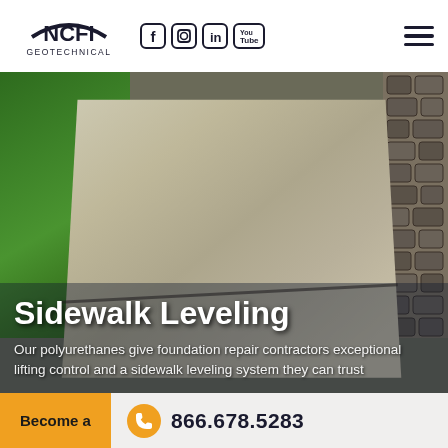NCFI Geotechnical — Navigation header with logo, social icons (Facebook, Instagram, LinkedIn, YouTube), and hamburger menu
[Figure (photo): Aerial close-up photo of an uneven concrete sidewalk slab with a visible crack, bordered by green grass on the left and cobblestone edging on the right.]
Sidewalk Leveling
Our polyurethanes give foundation repair contractors exceptional lifting control and a sidewalk leveling system they can trust
Become a
866.678.5283